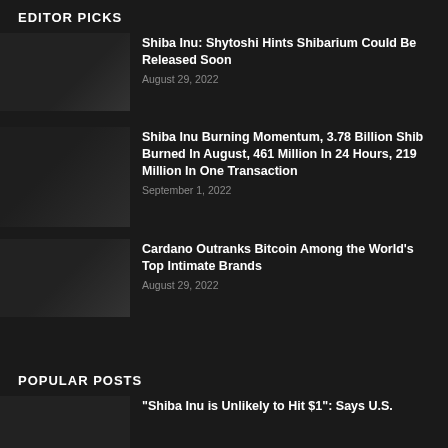EDITOR PICKS
Shiba Inu: Shytoshi Hints Shibarium Could Be Released Soon
August 29, 2022
Shiba Inu Burning Momentum, 3.78 Billion Shib Burned In August, 461 Million In 24 Hours, 219 Million In One Transaction
September 1, 2022
Cardano Outranks Bitcoin Among the World's Top Intimate Brands
August 29, 2022
POPULAR POSTS
“Shiba Inu is Unlikely to Hit $1”: Says U.S.